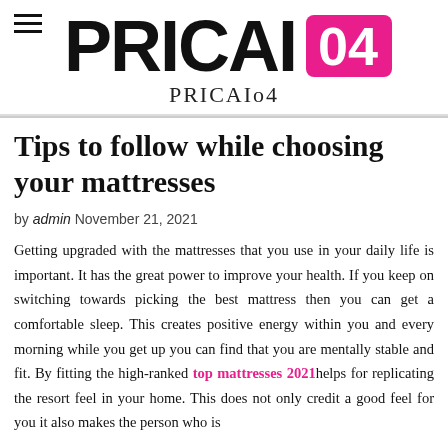PRICAI 04 PRICAIo4
Tips to follow while choosing your mattresses
by admin November 21, 2021
Getting upgraded with the mattresses that you use in your daily life is important. It has the great power to improve your health. If you keep on switching towards picking the best mattress then you can get a comfortable sleep. This creates positive energy within you and every morning while you get up you can find that you are mentally stable and fit. By fitting the high-ranked top mattresses 2021helps for replicating the resort feel in your home. This does not only credit a good feel for you it also makes the person who is